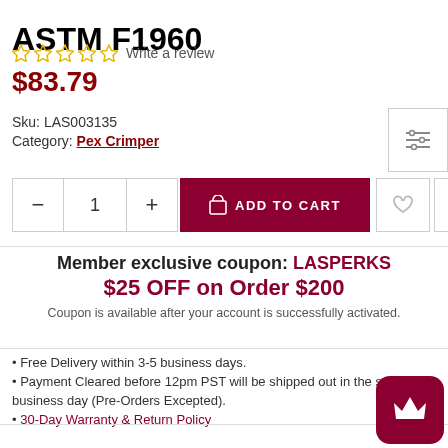ASTM F1960
☆☆☆☆☆ Write a review
$83.79
Sku: LAS003135
Category: Pex Crimper
ADD TO CART  Qty: 1
Member exclusive coupon: LASPERKS
$25 OFF on Order $200
Coupon is available after your account is successfully activated.
• Free Delivery within 3-5 business days.
• Payment Cleared before 12pm PST will be shipped out in the same business day (Pre-Orders Excepted).
• 30-Day Warranty & Return Policy